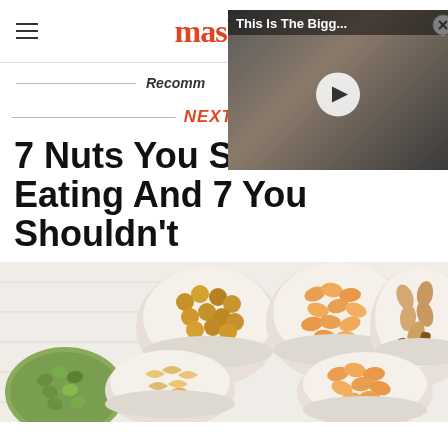mashed
[Figure (screenshot): Video thumbnail showing a man smiling with overlay text 'This Is The Bigg...' and a play button]
Recomm
NEXT UP
7 Nuts You Should Be Eating And 7 You Shouldn't
[Figure (photo): Photo of various bowls of mixed nuts including hazelnuts, peanuts, cashews, almonds, brazil nuts, and green pistachios on a white wooden surface]